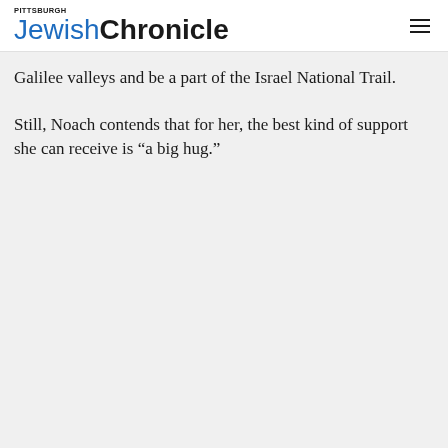Pittsburgh Jewish Chronicle
Galilee valleys and be a part of the Israel National Trail.
Still, Noach contends that for her, the best kind of support she can receive is “a big hug.”